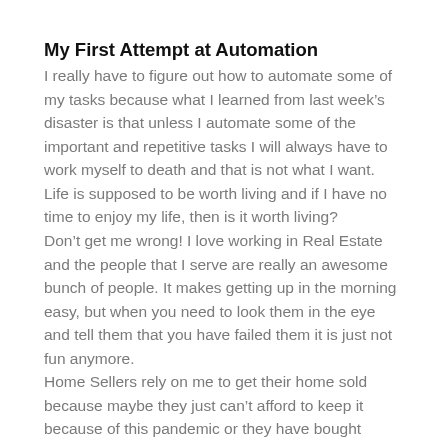My First Attempt at Automation
I really have to figure out how to automate some of my tasks because what I learned from last week’s disaster is that unless I automate some of the important and repetitive tasks I will always have to work myself to death and that is not what I want. Life is supposed to be worth living and if I have no time to enjoy my life, then is it worth living?
Don’t get me wrong! I love working in Real Estate and the people that I serve are really an awesome bunch of people. It makes getting up in the morning easy, but when you need to look them in the eye and tell them that you have failed them it is just not fun anymore.
Home Sellers rely on me to get their home sold because maybe they just can’t afford to keep it because of this pandemic or they have bought